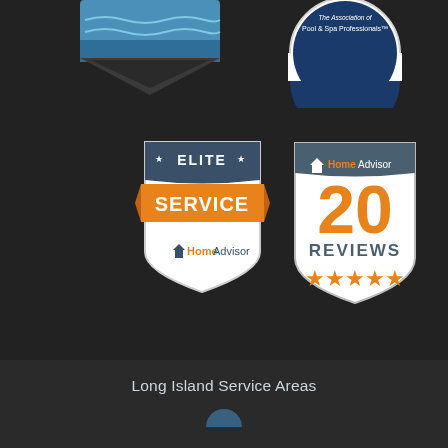[Figure (logo): Partial blue diamond/chevron logo at top left (pool related, cropped)]
[Figure (logo): Association of Pool & Spa Professionals MEMBER badge at top right, circular shape, dark blue and white]
[Figure (logo): HomeAdvisor Elite Service badge - shield shape, orange banner with SERVICE text, stars, white background]
[Figure (logo): HomeAdvisor 20 Reviews badge - shield/pentagon shape, orange and dark blue/grey, 5 stars]
Long Island Service Areas